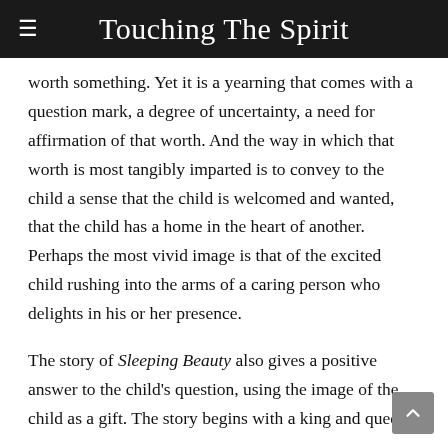Touching The Spirit
worth something. Yet it is a yearning that comes with a question mark, a degree of uncertainty, a need for affirmation of that worth. And the way in which that worth is most tangibly imparted is to convey to the child a sense that the child is welcomed and wanted, that the child has a home in the heart of another. Perhaps the most vivid image is that of the excited child rushing into the arms of a caring person who delights in his or her presence.
The story of Sleeping Beauty also gives a positive answer to the child's question, using the image of the child as a gift. The story begins with a king and queen longing for a child. Then we hear about the...